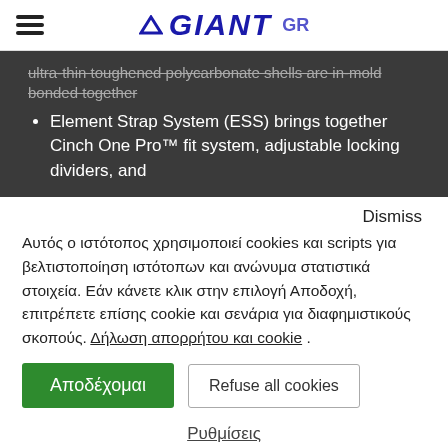GIANT GR
ultra-thin toughened polycarbonate shells are in-mold bonded together
Element Strap System (ESS) brings together Cinch One Pro™ fit system, adjustable locking dividers, and
Dismiss
Αυτός ο ιστότοπος χρησιμοποιεί cookies και scripts για βελτιστοποίηση ιστότοπων και ανώνυμα στατιστικά στοιχεία. Εάν κάνετε κλικ στην επιλογή Αποδοχή, επιτρέπετε επίσης cookie και σενάρια για διαφημιστικούς σκοπούς. Δήλωση απορρήτου και cookie .
Αποδέχομαι
Refuse all cookies
Ρυθμίσεις